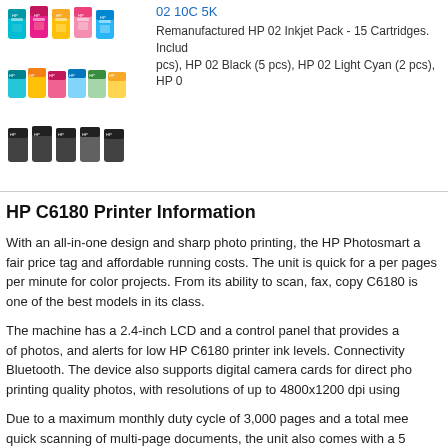[Figure (photo): Multiple rows of HP 02 ink cartridges in various colors (cyan, magenta, yellow, pink, black) shown stacked]
02 10C 5K
Remanufactured HP 02 Inkjet Pack - 15 Cartridges. Includ... pcs), HP 02 Black (5 pcs), HP 02 Light Cyan (2 pcs), HP 0...
HP C6180 Printer Information
With an all-in-one design and sharp photo printing, the HP Photosmart... a fair price tag and affordable running costs. The unit is quick for a pe... pages per minute for color projects. From its ability to scan, fax, copy... C6180 is one of the best models in its class.
The machine has a 2.4-inch LCD and a control panel that provides a... of photos, and alerts for low HP C6180 printer ink levels. Connectivity... Bluetooth. The device also supports digital camera cards for direct ph... printing quality photos, with resolutions of up to 4800x1200 dpi using...
Due to a maximum monthly duty cycle of 3,000 pages and a total me... quick scanning of multi-page documents, the unit also comes with a 5...
To maintain inexpensive running costs with its 6-color system, users d... vendors. Standard color Photosmart C6180 ink replacements include...